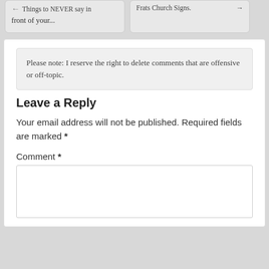Things to NEVER say in front of your...
Frats Church Signs.
Please note: I reserve the right to delete comments that are offensive or off-topic.
Leave a Reply
Your email address will not be published. Required fields are marked *
Comment *